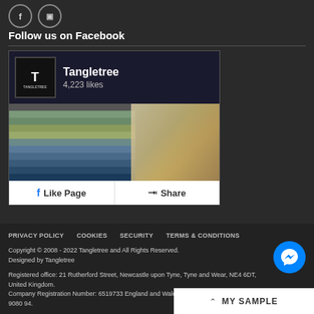[Figure (illustration): Social media icons: Facebook (f) and Instagram camera icon, circular bordered buttons on dark background]
Follow us on Facebook
[Figure (screenshot): Facebook Like Page widget showing Tangletree page with logo, 4,223 likes, cover photo of colorful paint strips and store interior, with Like Page and Share buttons]
PRIVACY POLICY   COOKIES   SECURITY   TERMS & CONDITIONS
Copyright © 2008 - 2022 Tangletree and All Rights Reserved.
Designed by Tangletree
Registered office: 21 Rutherford Street, Newcastle upon Tyne, Tyne and Wear, NE4 6DT, United Kingdom.
Company Registration Number: 6519733 England and Wales. VAT Number: 9080 94.